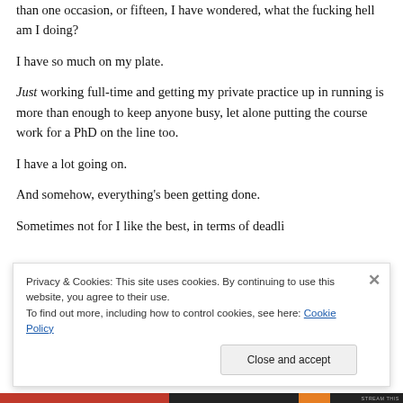than one occasion, or fifteen, I have wondered, what the fucking hell am I doing?
I have so much on my plate.
Just working full-time and getting my private practice up in running is more than enough to keep anyone busy, let alone putting the course work for a PhD on the line too.
I have a lot going on.
And somehow, everything's been getting done.
Sometimes not for I like the best, in terms of deadli...
Privacy & Cookies: This site uses cookies. By continuing to use this website, you agree to their use.
To find out more, including how to control cookies, see here: Cookie Policy
Close and accept